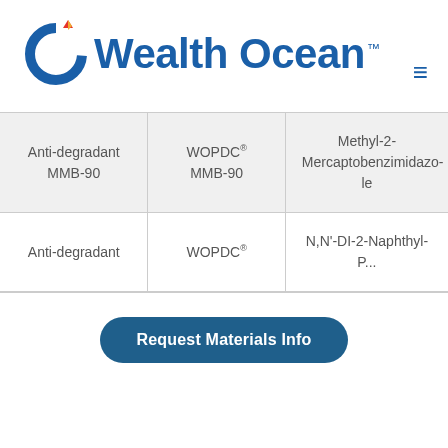[Figure (logo): Wealth Ocean company logo with circular blue icon and flame/drop accent in red and orange, followed by 'Wealth Ocean' text in blue with TM mark]
| Anti-degradant
MMB-90 | WOPDC®
MMB-90 | Methyl-2-Mercaptobenzimidazole |
| Anti-degradant | WOPDC® | N,N'-DI-2-Naphthyl-P... |
Request Materials Info